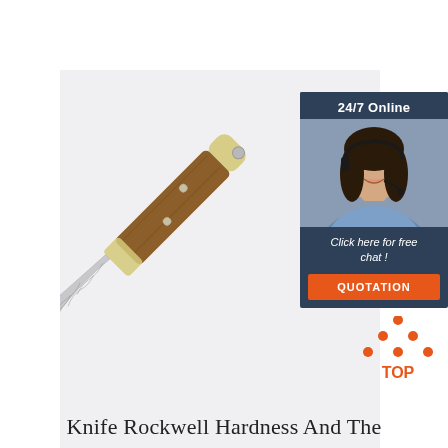[Figure (photo): Folding pocket knife with Damascus steel blade, wooden handle scales and brass bolsters, photographed on light grey background]
[Figure (infographic): 24/7 Online customer support chat widget with photo of smiling woman with headset, dark blue background, italic text 'Click here for free chat!', and orange QUOTATION button]
[Figure (illustration): Orange and dark 'TOP' back-to-top icon with upward pointing triangle made of dots above the word TOP in orange]
Knife Rockwell Hardness And The